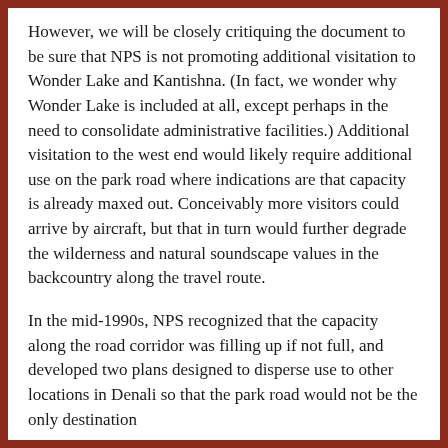However, we will be closely critiquing the document to be sure that NPS is not promoting additional visitation to Wonder Lake and Kantishna. (In fact, we wonder why Wonder Lake is included at all, except perhaps in the need to consolidate administrative facilities.) Additional visitation to the west end would likely require additional use on the park road where indications are that capacity is already maxed out. Conceivably more visitors could arrive by aircraft, but that in turn would further degrade the wilderness and natural soundscape values in the backcountry along the travel route.
In the mid-1990s, NPS recognized that the capacity along the road corridor was filling up if not full, and developed two plans designed to disperse use to other locations in Denali so that the park road would not be the only destination